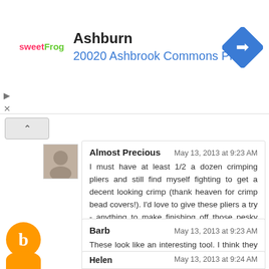[Figure (other): Ad banner for sweetFrog showing location: Ashburn, 20020 Ashbrook Commons Pla... with a blue navigation arrow icon]
Almost Precious
May 13, 2013 at 9:23 AM
I must have at least 1/2 a dozen crimping pliers and still find myself fighting to get a decent looking crimp (thank heaven for crimp bead covers!). I'd love to give these pliers a try - anything to make finishing off those pesky little necessities of jewelry making easier is a welcomed blessing. :)
Reply
Barb
May 13, 2013 at 9:23 AM
These look like an interesting tool. I think they would be fun to use. celticartwitch@gmail.com.
Reply